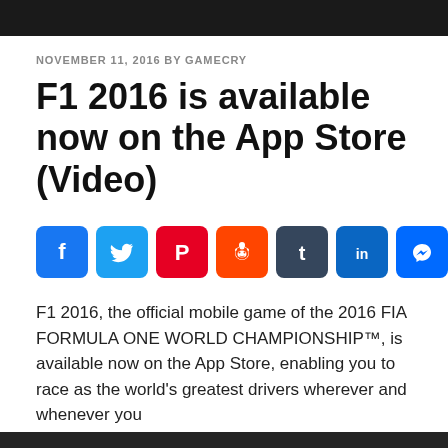NOVEMBER 11, 2016 BY GAMECRY
F1 2016 is available now on the App Store (Video)
[Figure (other): Social sharing buttons: Facebook, Twitter, Pinterest, Reddit, Tumblr, LinkedIn, Messenger, Amazon, More]
F1 2016, the official mobile game of the 2016 FIA FORMULA ONE WORLD CHAMPIONSHIP™, is available now on the App Store, enabling you to race as the world's greatest drivers wherever and whenever you
We use cookies to ensure that we give you the best experience on our website. If you continue to use this site we will assume that you are happy with it.